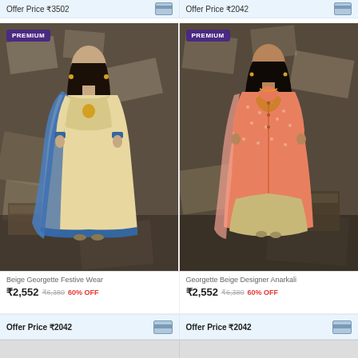Offer Price ₹3502  |  Offer Price ₹2042
[Figure (photo): Woman wearing beige georgette festive wear anarkali dress with blue dupatta, PREMIUM badge, newspaper backdrop]
[Figure (photo): Woman wearing peach/pink georgette designer anarkali dress over beige skirt, PREMIUM badge, newspaper backdrop]
Beige Georgette Festive Wear
₹2,552  ₹6,380  60% OFF
Georgette Beige Designer Anarkali
₹2,552  ₹6,380  60% OFF
Offer Price ₹2042
Offer Price ₹2042